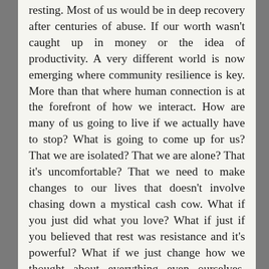resting. Most of us would be in deep recovery after centuries of abuse. If our worth wasn't caught up in money or the idea of productivity. A very different world is now emerging where community resilience is key. More than that where human connection is at the forefront of how we interact. How are many of us going to live if we actually have to stop? What is going to come up for us? That we are isolated? That we are alone? That it's uncomfortable? That we need to make changes to our lives that doesn't involve chasing down a mystical cash cow. What if you just did what you love? What if just if you believed that rest was resistance and it's powerful? What if we just change how we thought about everything even ourselves. what if we didn't have to call it fancy things like systemic change or human-centred design? What if we deeply took on board how interconnected and interdependent things are. So that when we have global emergencies governments didn't